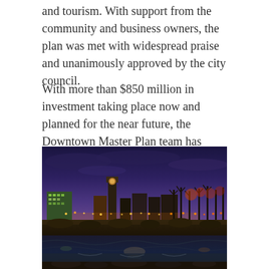and tourism. With support from the community and business owners, the plan was met with widespread praise and unanimously approved by the city council.
With more than $850 million in investment taking place now and planned for the near future, the Downtown Master Plan team has launched a campaign to update the Downtown Master Plan in 2018. In the meantime, the Missoula community has embarked upon a process to create design guidelines for downtown and the city's travel corridors.
[Figure (photo): Night photograph of Missoula, Montana cityscape with illuminated buildings and a clock tower reflected in a river in the foreground, taken at dusk with a deep blue and purple sky.]